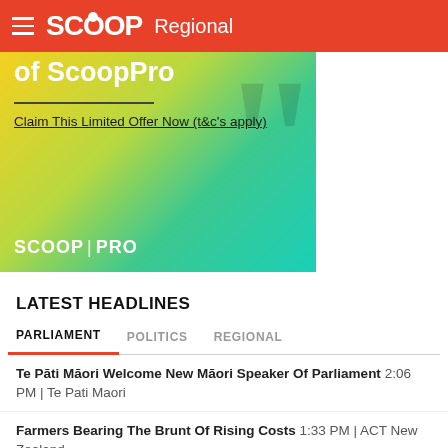SCOOP Regional
[Figure (illustration): ScoopPro advertisement banner with gradient background (yellow to teal), large quotation mark watermark, text 'of ScoopPro', horizontal divider, link 'Claim This Limited Offer Now (t&c's apply)', and ScoopPro logo at bottom left.]
LATEST HEADLINES
PARLIAMENT   POLITICS   REGIONAL
Te Pāti Māori Welcome New Māori Speaker Of Parliament 2:06 PM | Te Pati Maori
Farmers Bearing The Brunt Of Rising Costs 1:33 PM | ACT New Zealand